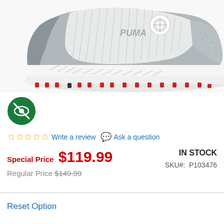[Figure (photo): Grey and white Puma golf shoe with white sole and red cleats, BOA lacing system, side view]
[Figure (logo): Green circular logo with white crossed-out eye icon]
☆☆☆☆☆ Write a review  💬 Ask a question
Special Price $119.99
Regular Price $149.99
IN STOCK
SKU#: P103476
Reset Option